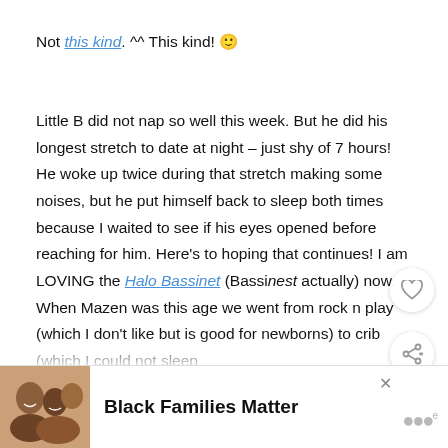Not this kind. ^^ This kind! 🙂
Little B did not nap so well this week. But he did his longest stretch to date at night – just shy of 7 hours! He woke up twice during that stretch making some noises, but he put himself back to sleep both times because I waited to see if his eyes opened before reaching for him. Here's to hoping that continues! I am LOVING the Halo Bassinet (Bassinest actually) now. When Mazen was this age we went from rock n play (which I don't like but is good for newborns) to crib (which I could not sleep ne... or pat.
[Figure (photo): Ad banner showing a family photo with text 'Black Families Matter' and a close button]
Black Families Matter